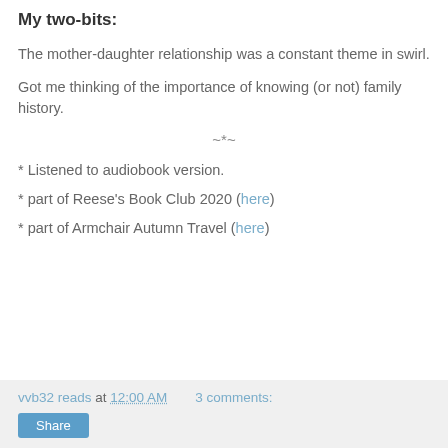My two-bits:
The mother-daughter relationship was a constant theme in swirl.
Got me thinking of the importance of knowing (or not) family history.
~*~
* Listened to audiobook version.
* part of Reese's Book Club 2020 (here)
* part of Armchair Autumn Travel (here)
vvb32 reads at 12:00 AM   3 comments:  Share